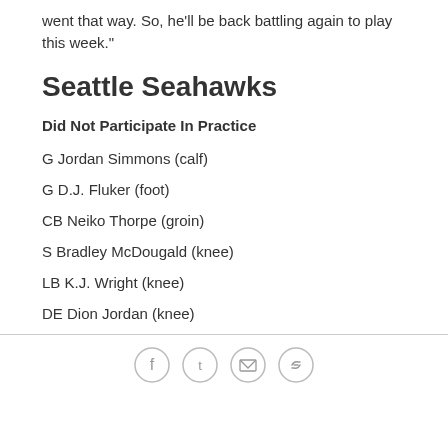went that way. So, he'll be back battling again to play this week."
Seattle Seahawks
Did Not Participate In Practice
G Jordan Simmons (calf)
G D.J. Fluker (foot)
CB Neiko Thorpe (groin)
S Bradley McDougald (knee)
LB K.J. Wright (knee)
DE Dion Jordan (knee)
[Figure (other): Social sharing icons: Facebook, Twitter, Email, Link]